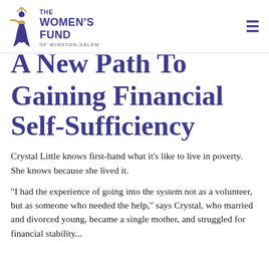[Figure (logo): The Women's Fund of Winston-Salem logo with stylized figure in purple and gold, text reads THE WOMEN'S FUND OF WINSTON-SALEM]
A New Path To Gaining Financial Self-Sufficiency
Crystal Little knows first-hand what it's like to live in poverty. She knows because she lived it.
“I had the experience of going into the system not as a volunteer, but as someone who needed the help,” says Crystal, who married and divorced young, became a single mother, and struggled for financial stability...